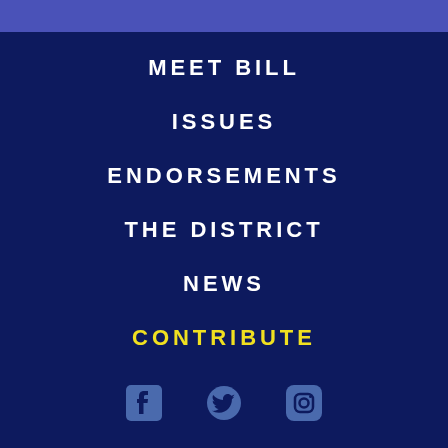MEET BILL
ISSUES
ENDORSEMENTS
THE DISTRICT
NEWS
CONTRIBUTE
[Figure (other): Social media icons: Facebook, Twitter, Instagram in blue]